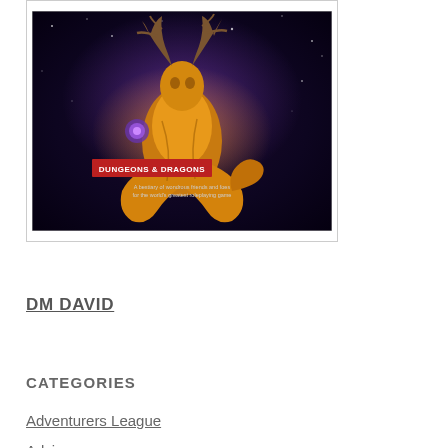[Figure (illustration): Dungeons & Dragons book cover showing a fantastical creature — appears to be a deity or powerful monster — with antlers and golden robes, set against a cosmic/space background. The cover reads 'DUNGEONS & DRAGONS' in red and white text, with a subtitle 'A bestiary of wondrous friends and foes for the world's greatest roleplaying game'.]
DM DAVID
CATEGORIES
Adventurers League
Advice
Character builds
Conventions
D&D fifth edition